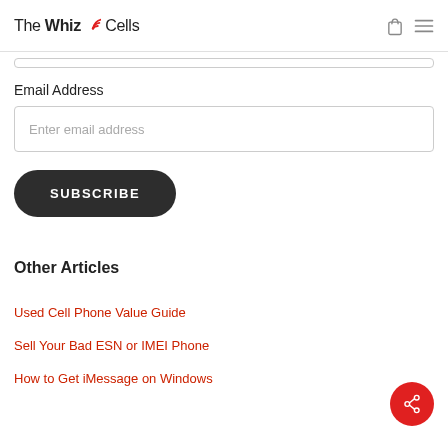The WhizCells
Email Address
Enter email address
SUBSCRIBE
Other Articles
Used Cell Phone Value Guide
Sell Your Bad ESN or IMEI Phone
How to Get iMessage on Windows